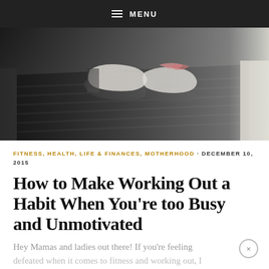≡ MENU
[Figure (photo): Close-up photo of running shoes on a treadmill belt, motion blur, dark background]
FITNESS, HEALTH, LIFE & FINANCES, MOTHERHOOD · DECEMBER 10, 2015
How to Make Working Out a Habit When You're too Busy and Unmotivated
Hey Mamas and ladies out there! If you're feeling defeated when it comes to fitness and working out, I